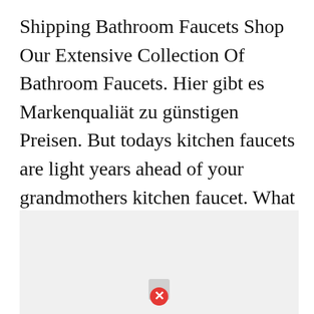Shipping Bathroom Faucets Shop Our Extensive Collection Of Bathroom Faucets. Hier gibt es Markenqualiät zu günstigen Preisen. But todays kitchen faucets are light years ahead of your grandmothers kitchen faucet. What is the water flow rate range for Widespread Bathroom Faucets at the Home Depot.
[Figure (other): Gray advertisement block with a red circle X close button at the bottom center]